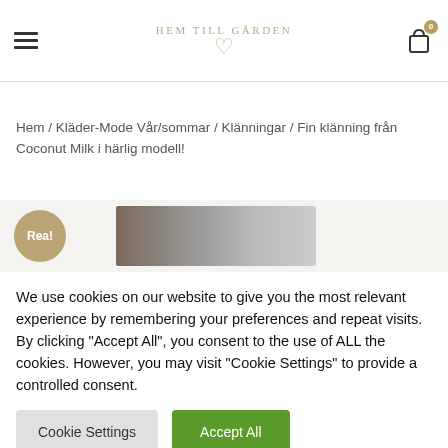HEM TILL GÅRDEN
Hem / Kläder-Mode Vår/sommar / Klänningar / Fin klänning från Coconut Milk i härlig modell!
[Figure (photo): Partial product image with Rea! badge visible]
We use cookies on our website to give you the most relevant experience by remembering your preferences and repeat visits. By clicking "Accept All", you consent to the use of ALL the cookies. However, you may visit "Cookie Settings" to provide a controlled consent.
Cookie Settings | Accept All